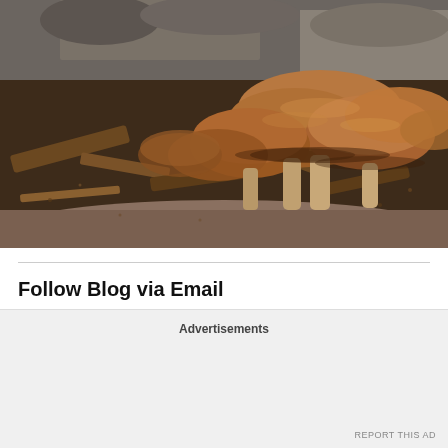[Figure (photo): Close-up photo of brown mushrooms (likely Armillaria or similar species) growing clustered together on a forest floor with wood debris, bark fragments, and sandy soil. The mushrooms have caramel/brown caps.]
Follow Blog via Email
Enter your email address to follow this blog and receive notifications of
Advertisements
REPORT THIS AD